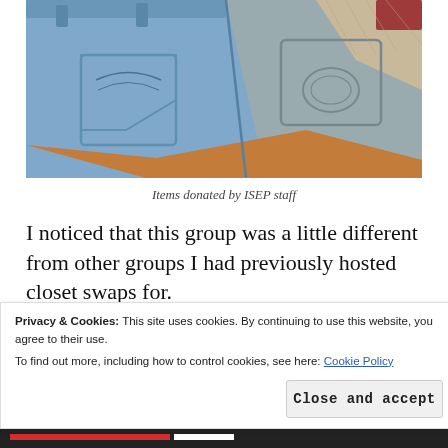[Figure (photo): Close-up photo of jeans and knitwear items laid out, showing back pockets of denim jeans in light blue and grey, with a beige/cream knit sweater partially visible in the top right, on a wooden surface.]
Items donated by ISEP staff
I noticed that this group was a little different from other groups I had previously hosted closet swaps for.
Privacy & Cookies: This site uses cookies. By continuing to use this website, you agree to their use.
To find out more, including how to control cookies, see here: Cookie Policy